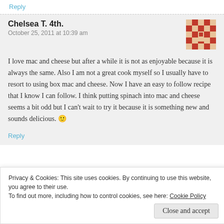Reply
Chelsea T. 4th.
October 25, 2011 at 10:39 am
I love mac and cheese but after a while it is not as enjoyable because it is always the same. Also I am not a great cook myself so I usually have to resort to using box mac and cheese. Now I have an easy to follow recipe that I know I can follow. I think putting spinach into mac and cheese seems a bit odd but I can't wait to try it because it is something new and sounds delicious. 🙂
Reply
Privacy & Cookies: This site uses cookies. By continuing to use this website, you agree to their use. To find out more, including how to control cookies, see here: Cookie Policy